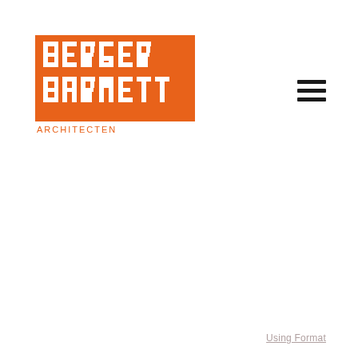[Figure (logo): Berger Barnett Architecten logo — orange square background with white cutout letterforms spelling BERGER on top row and BARNETT on second row, with ARCHITECTEN in smaller orange letters below the orange block]
[Figure (other): Hamburger menu icon — three horizontal black lines stacked vertically]
Using Format